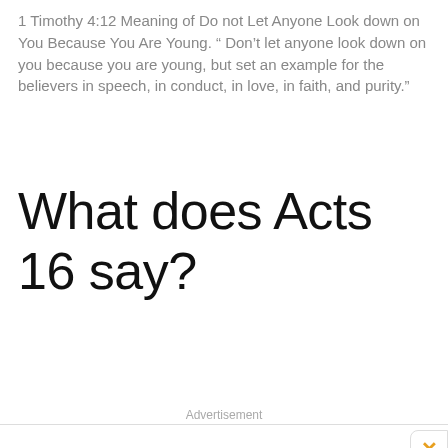1 Timothy 4:12 Meaning of Do not Let Anyone Look down on You Because You Are Young. “ Don’t let anyone look down on you because you are young, but set an example for the believers in speech, in conduct, in love, in faith, and purity.”
What does Acts 16 say?
Advertisement